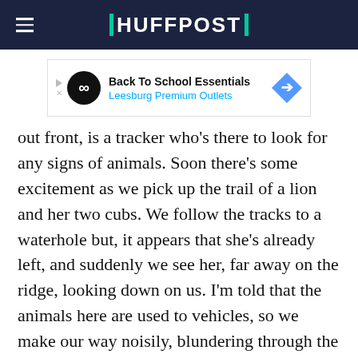HUFFPOST
[Figure (other): Advertisement banner for Back To School Essentials at Leesburg Premium Outlets]
out front, is a tracker who's there to look for any signs of animals. Soon there's some excitement as we pick up the trail of a lion and her two cubs. We follow the tracks to a waterhole but, it appears that she's already left, and suddenly we see her, far away on the ridge, looking down on us. I'm told that the animals here are used to vehicles, so we make our way noisily, blundering through the bush, with a dazzling display of serious off-roading by Brett, our ranger. He gets as close as he can, but the lions are resting under a tree at the edge of a precipice and, although I can see them, it's too dangerous to take the